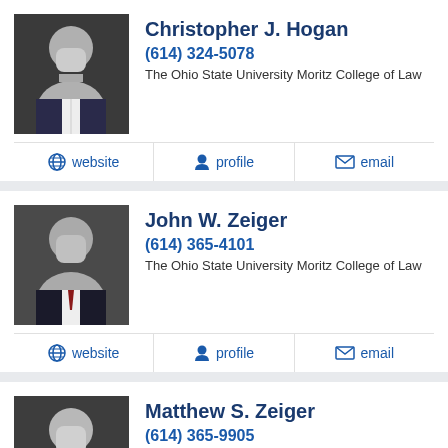[Figure (photo): Professional headshot of Christopher J. Hogan in a suit]
Christopher J. Hogan
(614) 324-5078
The Ohio State University Moritz College of Law
website   profile   email
[Figure (photo): Professional headshot of John W. Zeiger in a suit]
John W. Zeiger
(614) 365-4101
The Ohio State University Moritz College of Law
website   profile   email
[Figure (photo): Professional headshot of Matthew S. Zeiger in a suit]
Matthew S. Zeiger
(614) 365-9905
St. John's University School of Law
website   profile   email